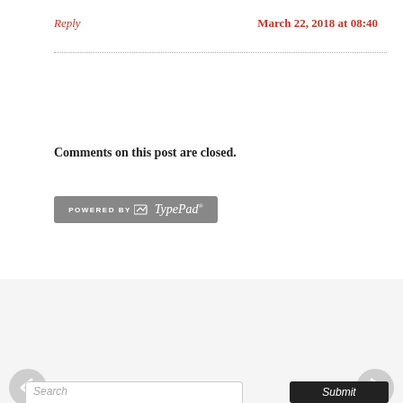Reply
March 22, 2018 at 08:40
Comments on this post are closed.
[Figure (logo): Powered by TypePad badge/logo in grey rectangle]
[Figure (illustration): Yellow PayPal Donate button]
[Figure (other): Left navigation arrow, semi-transparent circle with left arrow]
[Figure (other): Right navigation arrow, semi-transparent circle with right arrow]
Search
Submit